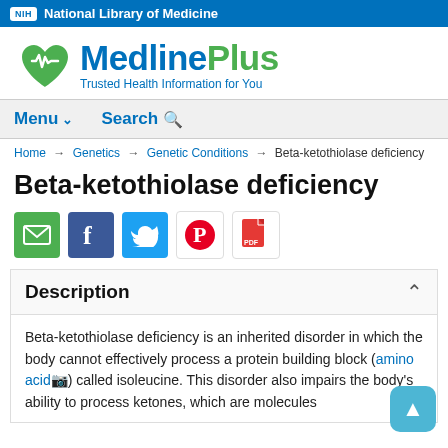NIH National Library of Medicine
[Figure (logo): MedlinePlus logo with green heart/pulse icon and text 'MedlinePlus Trusted Health Information for You']
Menu ∨   Search 🔍
Home → Genetics → Genetic Conditions → Beta-ketothiolase deficiency
Beta-ketothiolase deficiency
[Figure (infographic): Social share icons: email (green), Facebook (blue), Twitter (blue), Pinterest (red), PDF (white/red)]
Description
Beta-ketothiolase deficiency is an inherited disorder in which the body cannot effectively process a protein building block (amino acid 📷) called isoleucine. This disorder also impairs the body's ability to process ketones, which are molecules